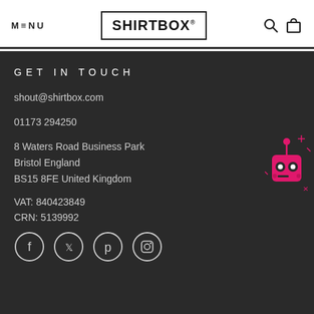MENU | SHIRTBOX® | [search] [cart]
GET IN TOUCH
shout@shirtbox.com
01173 294250
8 Waters Road Business Park
Bristol England
BS15 8FE United Kingdom
VAT: 840423849
CRN: 5139992
[Figure (other): Social media icons: Facebook, Twitter, Pinterest, Instagram (circle outlines)]
[Figure (illustration): Pink robot mascot with star/sparkle effects in bottom right corner]